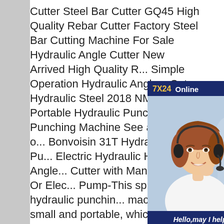Cutter Steel Bar Cutter GQ45 High Quality Rebar Cutter Factory Steel Bar Cutting Machine For Sale Hydraulic Angle Cutter New Arrived High Quality R... Simple Operation Hydraulic Angle... Cut Hydraulic Steel 2018 NMHP-... Portable Hydraulic Punch Tool St... Punching Machine See a full list o... Bonvoisin 31T Hydraulic Hole Pu... Electric Hydraulic Hydraulic Angle... Cutter with Manual Pump Or Elec... Pump-This split hydraulic punchin... machine is small and portable, which needs to be used with a hydraulic pump. There are two options manual hydraulic pump and electric hydraulic pump. You can choose according to your needs. -The powerful motor makes the output force of the hole puncher reach 31T.
[Figure (infographic): Chat widget overlay with '7X24 Online' header in navy blue, a photo of a smiling woman wearing a headset, and a 'Hello, may I help you?' message with a yellow 'Get Latest Price' button.]